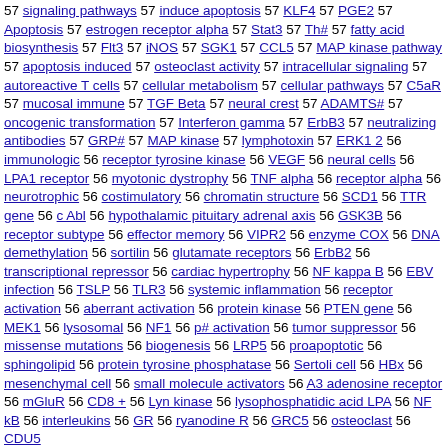57 signaling pathways 57 induce apoptosis 57 KLF4 57 PGE2 57 Apoptosis 57 estrogen receptor alpha 57 Stat3 57 Th# 57 fatty acid biosynthesis 57 Flt3 57 iNOS 57 SGK1 57 CCL5 57 MAP kinase pathway 57 apoptosis induced 57 osteoclast activity 57 intracellular signaling 57 autoreactive T cells 57 cellular metabolism 57 cellular pathways 57 C5aR 57 mucosal immune 57 TGF Beta 57 neural crest 57 ADAMTS# 57 oncogenic transformation 57 Interferon gamma 57 ErbB3 57 neutralizing antibodies 57 GRP# 57 MAP kinase 57 lymphotoxin 57 ERK1 2 56 immunologic 56 receptor tyrosine kinase 56 VEGF 56 neural cells 56 LPA1 receptor 56 myotonic dystrophy 56 TNF alpha 56 receptor alpha 56 neurotrophic 56 costimulatory 56 chromatin structure 56 SCD1 56 TTR gene 56 c Abl 56 hypothalamic pituitary adrenal axis 56 GSK3B 56 receptor subtype 56 effector memory 56 VIPR2 56 enzyme COX 56 DNA demethylation 56 sortilin 56 glutamate receptors 56 ErbB2 56 transcriptional repressor 56 cardiac hypertrophy 56 NF kappa B 56 EBV infection 56 TSLP 56 TLR3 56 systemic inflammation 56 receptor activation 56 aberrant activation 56 protein kinase 56 PTEN gene 56 MEK1 56 lysosomal 56 NF1 56 p# activation 56 tumor suppressor 56 missense mutations 56 biogenesis 56 LRP5 56 proapoptotic 56 sphingolipid 56 protein tyrosine phosphatase 56 Sertoli cell 56 HBx 56 mesenchymal cell 56 small molecule activators 56 A3 adenosine receptor 56 mGluR 56 CD8 + 56 Lyn kinase 56 lysophosphatidic acid LPA 56 NF kB 56 interleukins 56 GR 56 ryanodine R 56 GRC5 56 osteoclast 56 CDU5